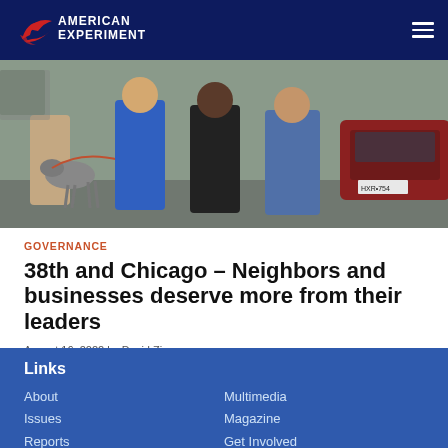American Experiment
[Figure (photo): Group of people standing outdoors with a large grey dog on a leash, one person in blue scrubs, others in casual clothing, a red car visible in the background]
GOVERNANCE
38th and Chicago – Neighbors and businesses deserve more from their leaders
August 16, 2022 by David Zimmer
Links
About
Issues
Reports
Multimedia
Magazine
Get Involved